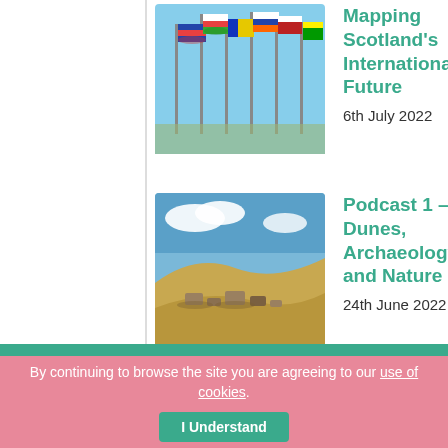[Figure (photo): Colorful flags from multiple countries waving in the sky, representing international relations]
Mapping Scotland's International Future
6th July 2022
[Figure (photo): Sandy dunes with archaeological site visible, blue sky in background]
Podcast 1 – Dunes, Archaeology and Nature
24th June 2022
[Figure (logo): UK Young Academy logo — black sunflower-like symbol with text 'UKYoung Academy' on yellow background]
New UK Young Academy seeks young leaders from Scotland
15th June 2022
By continuing to browse the site you are agreeing to our use of cookies.
I Understand